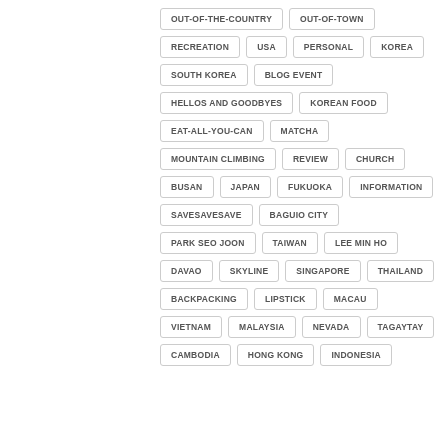OUT-OF-THE-COUNTRY
OUT-OF-TOWN
RECREATION
USA
PERSONAL
KOREA
SOUTH KOREA
BLOG EVENT
HELLOS AND GOODBYES
KOREAN FOOD
EAT-ALL-YOU-CAN
MATCHA
MOUNTAIN CLIMBING
REVIEW
CHURCH
BUSAN
JAPAN
FUKUOKA
INFORMATION
SAVESAVESAVE
BAGUIO CITY
PARK SEO JOON
TAIWAN
LEE MIN HO
DAVAO
SKYLINE
SINGAPORE
THAILAND
BACKPACKING
LIPSTICK
MACAU
VIETNAM
MALAYSIA
NEVADA
TAGAYTAY
CAMBODIA
HONG KONG
INDONESIA